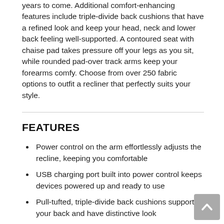years to come. Additional comfort-enhancing features include triple-divide back cushions that have a refined look and keep your head, neck and lower back feeling well-supported. A contoured seat with chaise pad takes pressure off your legs as you sit, while rounded pad-over track arms keep your forearms comfy. Choose from over 250 fabric options to outfit a recliner that perfectly suits your style.
FEATURES
Power control on the arm effortlessly adjusts the recline, keeping you comfortable
USB charging port built into power control keeps devices powered up and ready to use
Pull-tufted, triple-divide back cushions support your back and have distinctive look
Rounded pad-over track arms enhance comfort and provide additional forearm support